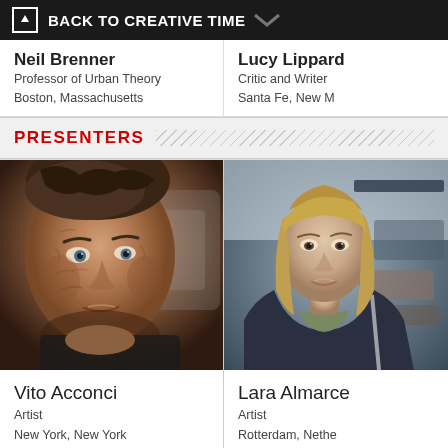BACK TO CREATIVE TIME
Neil Brenner
Professor of Urban Theory
Boston, Massachusetts
Lucy Lippard
Critic and Writer
Santa Fe, New M...
PRESENTERS
[Figure (photo): Close-up portrait photograph of Vito Acconci, an older man with dark grey hair, deep wrinkles, and intense eyes looking directly at the camera]
Vito Acconci
Artist
New York, New York
[Figure (photo): Portrait photograph of Lara Almarcegui, a woman with long blonde hair, wearing a dark jacket, seated in what appears to be a studio or workspace]
Lara Almarcegui
Artist
Rotterdam, Nethe...